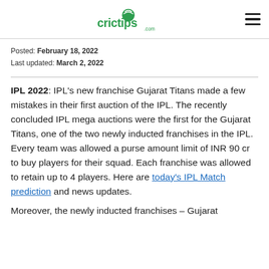crictips.com
Posted: February 18, 2022
Last updated: March 2, 2022
IPL 2022: IPL's new franchise Gujarat Titans made a few mistakes in their first auction of the IPL. The recently concluded IPL mega auctions were the first for the Gujarat Titans, one of the two newly inducted franchises in the IPL. Every team was allowed a purse amount limit of INR 90 cr to buy players for their squad. Each franchise was allowed to retain up to 4 players. Here are today's IPL Match prediction and news updates.

Moreover, the newly inducted franchises – Gujarat